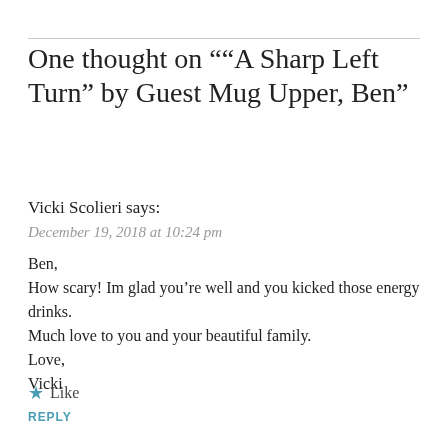One thought on "“A Sharp Left Turn” by Guest Mug Upper, Ben"
Vicki Scolieri says:
December 19, 2018 at 10:24 pm
Ben,
How scary! Im glad you’re well and you kicked those energy drinks.
Much love to you and your beautiful family.
Love,
Vicki
★ Like
REPLY